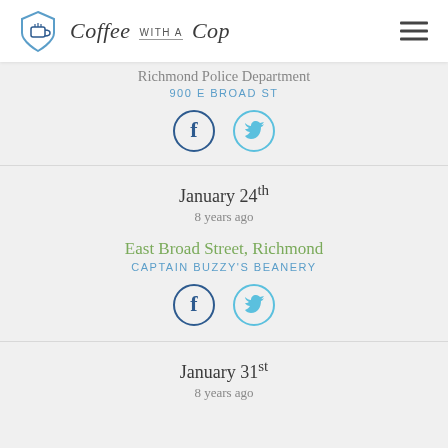Coffee with a Cop
Richmond Police Department
900 E BROAD ST
[Figure (infographic): Facebook and Twitter share icons — circular buttons]
January 24th
8 years ago
East Broad Street, Richmond
CAPTAIN BUZZY'S BEANERY
[Figure (infographic): Facebook and Twitter share icons — circular buttons]
January 31st
8 years ago